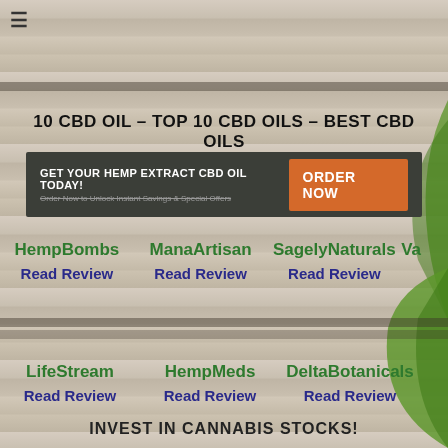≡
10 CBD OIL – TOP 10 CBD OILS – BEST CBD OILS
[Figure (infographic): Ad banner: GET YOUR HEMP EXTRACT CBD OIL TODAY! Order Now to Unlock Instant Savings & Special Offers. Orange button: ORDER NOW]
HempBombs Read Review
ManaArtisan Read Review
SagelyNaturals Read Review
Va...
LifeStream Read Review
HempMeds Read Review
DeltaBotanicals Read Review
INVEST IN CANNABIS STOCKS!